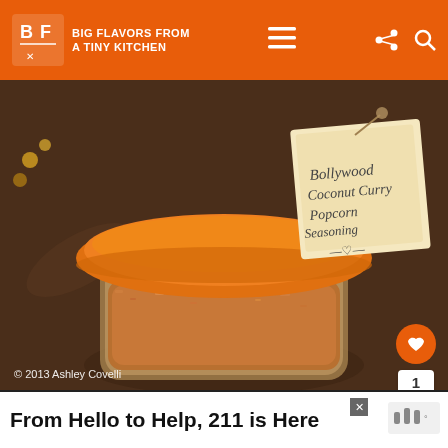BIG FLAVORS FROM A TINY KITCHEN
[Figure (photo): A glass jar with an orange lid containing Bollywood Coconut Curry Popcorn Seasoning, with a handwritten label tag attached. Copyright 2013 Ashley Covelli.]
Bollywood Coconut Curry Popcorn Seasoning
Gifts Cooks Love – Sur La Table
WHAT'S NEXT → Stove-Popped Popcorn wit...
From Hello to Help, 211 is Here